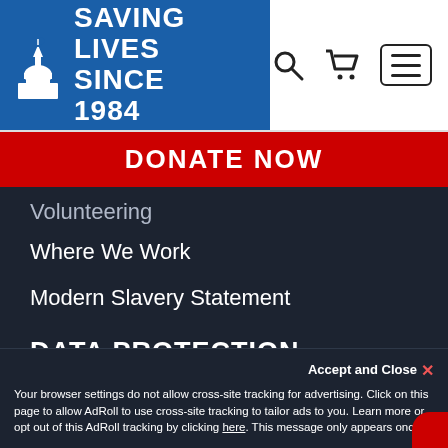Islamic Relief — Saving Lives Since 1984 — Navigation header with search, cart, and menu icons
DONATE NOW
Volunteering
Where We Work
Modern Slavery Statement
DATA PROTECTION
Privacy Policy
Our Supporter Promise
WHAT WE DO
Qurbani
Accept and Close ✕
Your browser settings do not allow cross-site tracking for advertising. Click on this page to allow AdRoll to use cross-site tracking to tailor ads to you. Learn more or opt out of this AdRoll tracking by clicking here. This message only appears once.